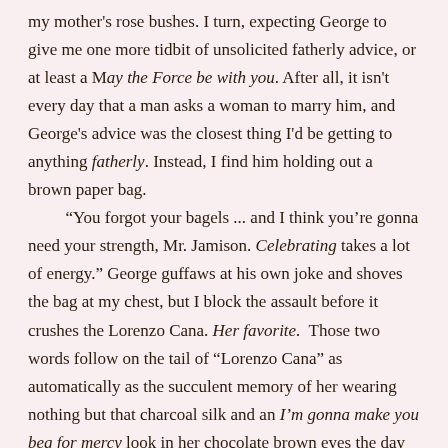my mother's rose bushes. I turn, expecting George to give me one more tidbit of unsolicited fatherly advice, or at least a May the Force be with you. After all, it isn't every day that a man asks a woman to marry him, and George's advice was the closest thing I'd be getting to anything fatherly. Instead, I find him holding out a brown paper bag.

“You forgot your bagels ... and I think you're gonna need your strength, Mr. Jamison. Celebrating takes a lot of energy.” George guffaws at his own joke and shoves the bag at my chest, but I block the assault before it crushes the Lorenzo Cana. Her favorite. Those two words follow on the tail of “Lorenzo Cana” as automatically as the succulent memory of her wearing nothing but that charcoal silk and an I'm gonna make you beg for mercy look in her chocolate brown eyes the day she gave it to me. The thought